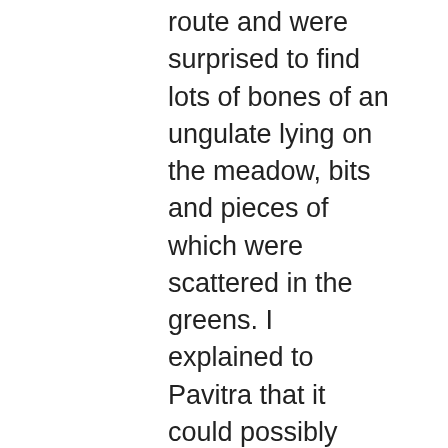route and were surprised to find lots of bones of an ungulate lying on the meadow, bits and pieces of which were scattered in the greens. I explained to Pavitra that it could possibly have been the work of a Lammergeier, which usually throws pieces of bone, collected from a carcass, from high above, and once broken, the smaller pieces and marrow were eaten by it. By now, it had already started to drizzle, and we packed our cameras in the bag and started walking back to our hotel, when all of a sudden, we saw a pair of griffons soaring down to the meadow and landing at the exact spot where the bones were. I dropped my bag and ran near the spot, as another griffon, perhaps a juvenile, landed on a tree,